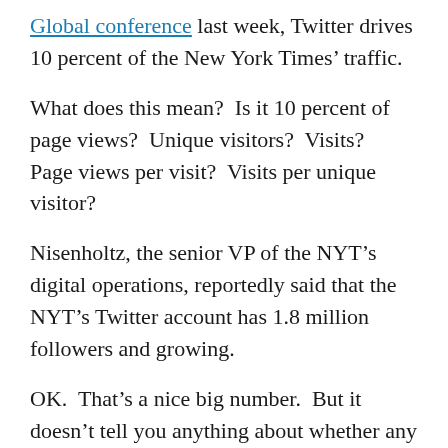Global conference last week, Twitter drives 10 percent of the New York Times' traffic.
What does this mean?  Is it 10 percent of page views?  Unique visitors?  Visits?  Page views per visit?  Visits per unique visitor?
Nisenholtz, the senior VP of the NYT’s digital operations, reportedly said that the NYT’s Twitter account has 1.8 million followers and growing.
OK.  That’s a nice big number.  But it doesn’t tell you anything about whether any of those followers – or anyone who got to the site through Twitter – really engaged with the site.